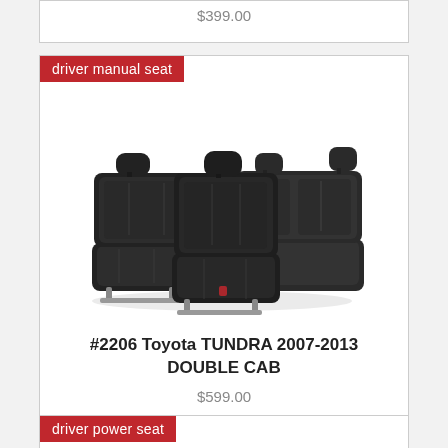$399.00
driver manual seat
[Figure (photo): Product photo showing black leather car seat covers set for Toyota Tundra Double Cab — two front bucket seats and a rear bench seat with integrated headrests, all in black leather with stitched panel detailing.]
#2206 Toyota TUNDRA 2007-2013 DOUBLE CAB
$599.00
driver power seat